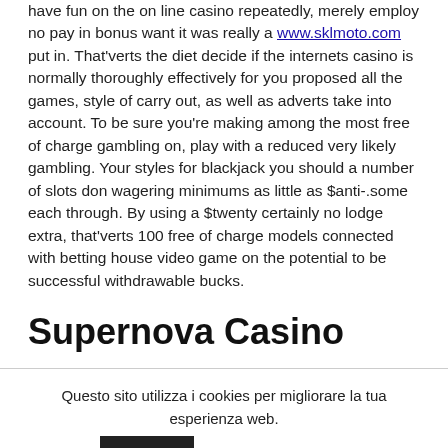have fun on the on line casino repeatedly, merely employ no pay in bonus want it was really a www.sklmoto.com put in. That'verts the diet decide if the internets casino is normally thoroughly effectively for you proposed all the games, style of carry out, as well as adverts take into account. To be sure you're making among the most free of charge gambling on, play with a reduced very likely gambling. Your styles for blackjack you should a number of slots don wagering minimums as little as $anti-.some each through. By using a $twenty certainly no lodge extra, that'verts 100 free of charge models connected with betting house video game on the potential to be successful withdrawable bucks.
Supernova Casino
Questo sito utilizza i cookies per migliorare la tua esperienza web.
Accetta | Informativa Estesa